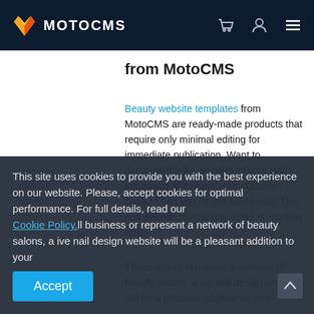MOTOCMS
from MotoCMS
Beauty website templates from MotoCMS are ready-made products that require only minimal editing for immediate publication. Want to demonstrate the benefits of your nail services and expand your customer base? Then you hit the right place! This nail website template is a mix of modern web ... ll business or represent a network of beauty salons, a ive nail design website will be a pleasant addition to your
This site uses cookies to provide you with the best experience on our website. Please, accept cookies for optimal performance. For full details, read our Cookie Policy.
Accept